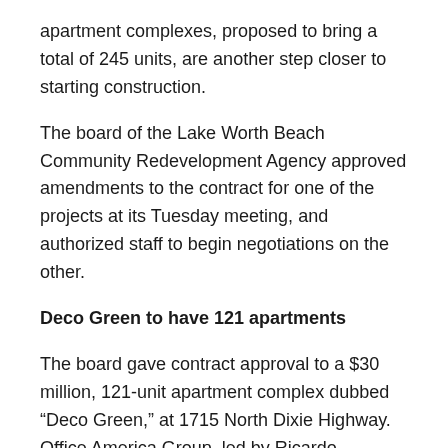apartment complexes, proposed to bring a total of 245 units, are another step closer to starting construction.
The board of the Lake Worth Beach Community Redevelopment Agency approved amendments to the contract for one of the projects at its Tuesday meeting, and authorized staff to begin negotiations on the other.
Deco Green to have 121 apartments
The board gave contract approval to a $30 million, 121-unit apartment complex dubbed “Deco Green,” at 1715 North Dixie Highway. Office America Group, led by Ricardo Hernandez, won a request for proposal to develop the land earlier this year.
The CRA spent about $2.6 million to buy the land in 2018 and get it shovel ready, according to documents provided to the board.